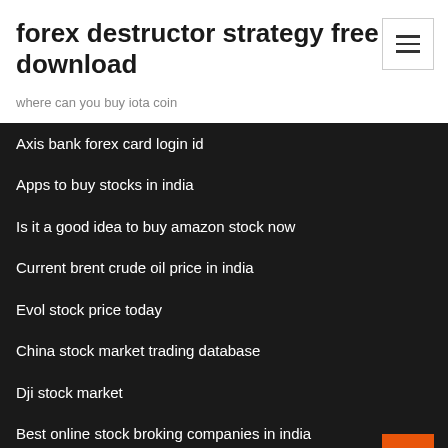forex destructor strategy free download
where can you buy iota coin
Axis bank forex card login id
Apps to buy stocks in india
Is it a good idea to buy amazon stock now
Current brent crude oil price in india
Evol stock price today
China stock market trading database
Dji stock market
Best online stock broking companies in india
Cisco stock price estimates